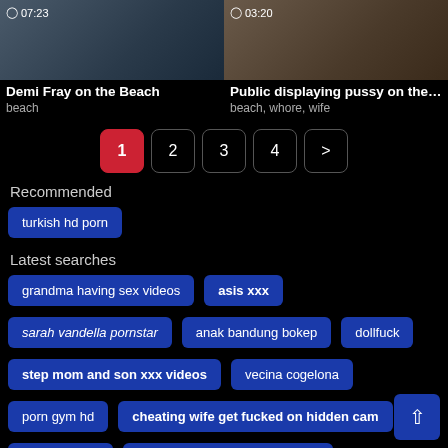[Figure (screenshot): Two video thumbnails side by side with durations 07:23 and 03:20]
Demi Fray on the Beach
beach
Public displaying pussy on the ...
beach, whore, wife
1 2 3 4 >
Recommended
turkish hd porn
Latest searches
grandma having sex videos
asis xxx
sarah vandella pornstar
anak bandung bokep
dollfuck
step mom and son xxx videos
vecina cogelona
porn gym hd
cheating wife get fucked on hidden cam
xxx rap video
sex stories of wife and husband
hawaii girls nackt
porn cherry crush